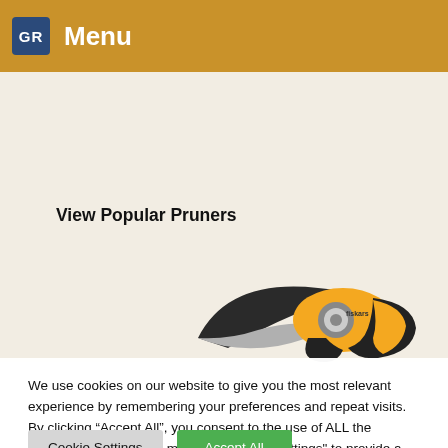Menu
View Popular Pruners
[Figure (photo): Orange and black Fiskars pruning shears / secateurs, partially cropped at bottom of image area]
We use cookies on our website to give you the most relevant experience by remembering your preferences and repeat visits. By clicking “Accept All”, you consent to the use of ALL the cookies. However, you may visit "Cookie Settings" to provide a controlled consent.
Cookie Settings
Accept All